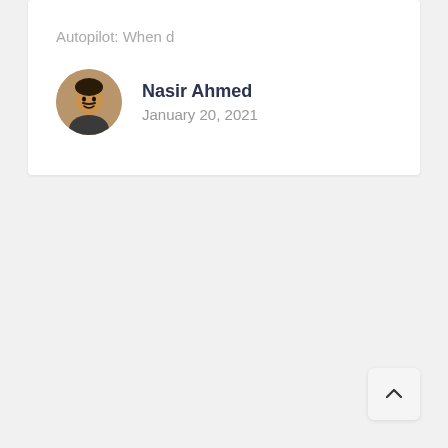Autopilot: When d
Nasir Ahmed
January 20, 2021